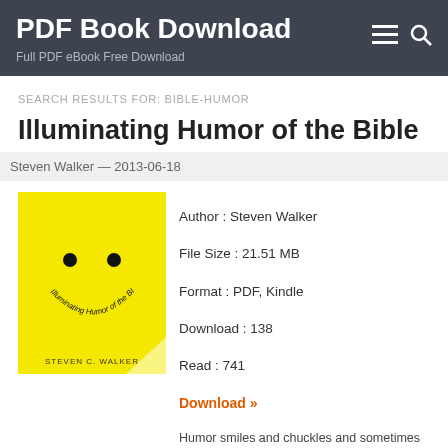PDF Book Download
Full PDF eBook Free Download
SEARCH RESULTS FOR: BIBLE-HUMOR
Illuminating Humor of the Bible
Steven Walker — 2013-06-18
[Figure (illustration): Book cover of 'Illuminating Humor of the Bible' by Steven C. Walker — yellow background with a smiley face made of two black dots and a curved text smile reading 'Illuminating Humor of the BIBLE', author name at bottom]
Author : Steven Walker
File Size : 21.51 MB
Format : PDF, Kindle
Download : 138
Read : 741
Download »
Humor smiles and chuckles and sometimes laughs so loud in virtually every book of the Bible, so it's